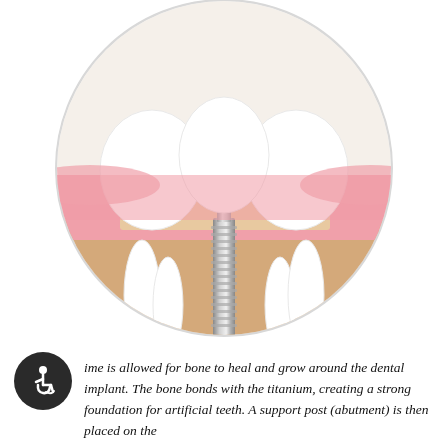[Figure (illustration): Medical illustration of a dental implant shown in cross-section among natural teeth. The image shows three teeth in a row with the middle one being an artificial implant with a metal screw post embedded in bone tissue. The surrounding gum tissue is shown in pink and the bone in a tan/beige color. The illustration is contained within a circular frame on a white background.]
ime is allowed for bone to heal and grow around the dental implant. The bone bonds with the titanium, creating a strong foundation for artificial teeth. A support post (abutment) is then placed on the